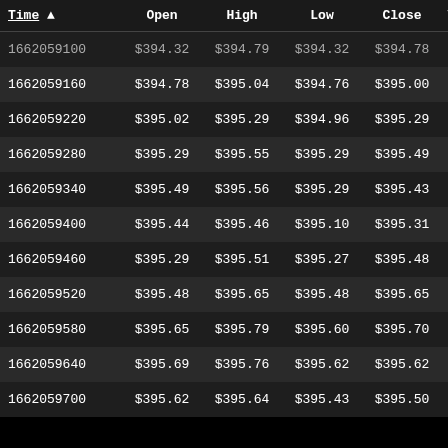| Time ▲ | Open | High | Low | Close | Volume | VWA |
| --- | --- | --- | --- | --- | --- | --- |
| 1662059100 | $394.32 | $394.79 | $394.32 | $394.78 | 0 | $394 |
| 1662059160 | $394.78 | $395.04 | $394.76 | $395.00 | 0 | $395 |
| 1662059220 | $395.02 | $395.29 | $394.96 | $395.29 | 0 | $395 |
| 1662059280 | $395.29 | $395.55 | $395.29 | $395.49 | 0 | $395 |
| 1662059340 | $395.49 | $395.56 | $395.29 | $395.43 | 0 | $395 |
| 1662059400 | $395.44 | $395.46 | $395.10 | $395.31 | 0 | $395 |
| 1662059460 | $395.29 | $395.51 | $395.27 | $395.48 | 0 | $395 |
| 1662059520 | $395.48 | $395.65 | $395.48 | $395.65 | 0 | $395 |
| 1662059580 | $395.65 | $395.79 | $395.60 | $395.70 | 0 | $395 |
| 1662059640 | $395.69 | $395.76 | $395.62 | $395.62 | 0 | $395 |
| 1662059700 | $395.62 | $395.64 | $395.43 | $395.50 | 0 | $395 |